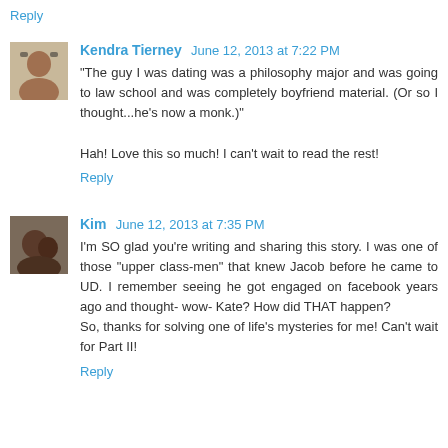Reply
Kendra Tierney June 12, 2013 at 7:22 PM
"The guy I was dating was a philosophy major and was going to law school and was completely boyfriend material. (Or so I thought...he's now a monk.)"

Hah! Love this so much! I can't wait to read the rest!
Reply
Kim June 12, 2013 at 7:35 PM
I'm SO glad you're writing and sharing this story. I was one of those "upper class-men" that knew Jacob before he came to UD. I remember seeing he got engaged on facebook years ago and thought- wow- Kate? How did THAT happen?
So, thanks for solving one of life's mysteries for me! Can't wait for Part II!
Reply